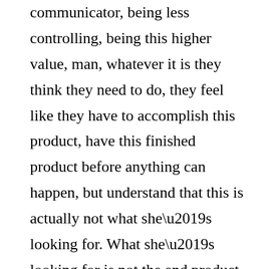communicator, being less controlling, being this higher value, man, whatever it is they think they need to do, they feel like they have to accomplish this product, have this finished product before anything can happen, but understand that this is actually not what she's looking for. What she's looking for is not the end product, the finished product that you think she's looking for, what she's looking for instead of the process.

So to understand this a bit better, I want to